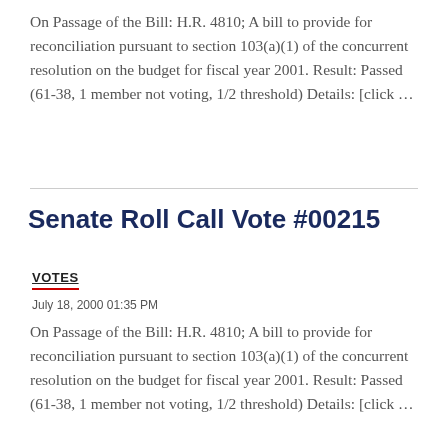On Passage of the Bill: H.R. 4810; A bill to provide for reconciliation pursuant to section 103(a)(1) of the concurrent resolution on the budget for fiscal year 2001. Result: Passed (61-38, 1 member not voting, 1/2 threshold) Details: [click …
Senate Roll Call Vote #00215
VOTES
July 18, 2000 01:35 PM
On Passage of the Bill: H.R. 4810; A bill to provide for reconciliation pursuant to section 103(a)(1) of the concurrent resolution on the budget for fiscal year 2001. Result: Passed (61-38, 1 member not voting, 1/2 threshold) Details: [click …